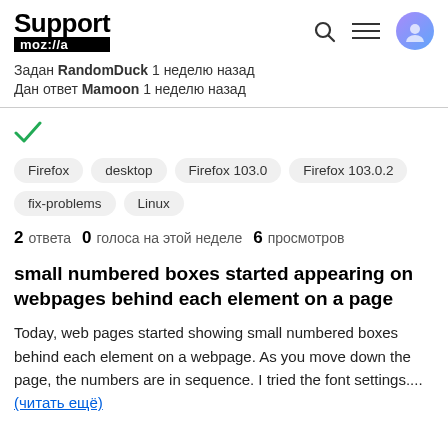Support mozilla // (header with search, menu, avatar icons)
Задан RandomDuck 1 неделю назад
Дан ответ Mamoon 1 неделю назад
[Figure (other): Green checkmark icon]
Firefox
desktop
Firefox 103.0
Firefox 103.0.2
fix-problems
Linux
2 ответа   0 голоса на этой неделе   6 просмотров
small numbered boxes started appearing on webpages behind each element on a page
Today, web pages started showing small numbered boxes behind each element on a webpage. As you move down the page, the numbers are in sequence. I tried the font settings.... (читать ещё)